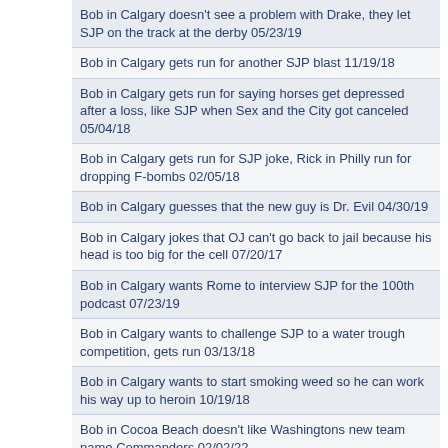Bob in Calgary doesn't see a problem with Drake, they let SJP on the track at the derby 05/23/19
Bob in Calgary gets run for another SJP blast 11/19/18
Bob in Calgary gets run for saying horses get depressed after a loss, like SJP when Sex and the City got canceled 05/04/18
Bob in Calgary gets run for SJP joke, Rick in Philly run for dropping F-bombs 02/05/18
Bob in Calgary guesses that the new guy is Dr. Evil 04/30/19
Bob in Calgary jokes that OJ can't go back to jail because his head is too big for the cell 07/20/17
Bob in Calgary wants Rome to interview SJP for the 100th podcast 07/23/19
Bob in Calgary wants to challenge SJP to a water trough competition, gets run 03/13/18
Bob in Calgary wants to start smoking weed so he can work his way up to heroin 10/19/18
Bob in Cocoa Beach doesn't like Washingtons new team name Commanders 02/02/22
Bob in Idaho got through a Dodgers take so he could unwar RumChata 10/30/17
Bob in Iowa gets run for giving the technical term for eating poop 11/12/20
Bob in Iowa is a first time listener, thinks the Smackdown will be hilarious 03/08/19
Bob in Iowa is called the smokehouse because he has all this meat hanging 03/11/21